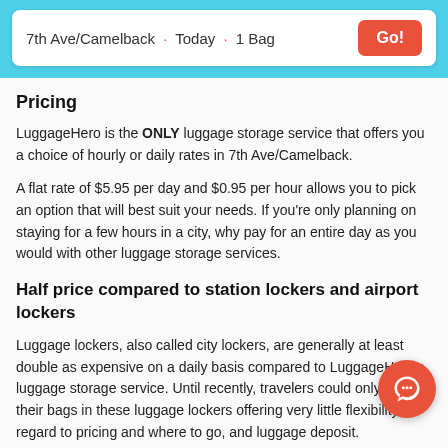7th Ave/Camelback · Today · 1 Bag
Pricing
LuggageHero is the ONLY luggage storage service that offers you a choice of hourly or daily rates in 7th Ave/Camelback.
A flat rate of $5.95 per day and $0.95 per hour allows you to pick an option that will best suit your needs. If you're only planning on staying for a few hours in a city, why pay for an entire day as you would with other luggage storage services.
Half price compared to station lockers and airport lockers
Luggage lockers, also called city lockers, are generally at least double as expensive on a daily basis compared to LuggageHero's luggage storage service. Until recently, travelers could only store their bags in these luggage lockers offering very little flexibility in regard to pricing and where to go, and luggage deposit.
Also, LuggageHero offers stores in countless places in order for